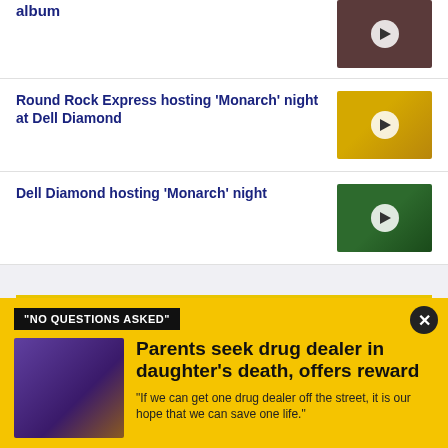album
[Figure (screenshot): Video thumbnail with play button]
Round Rock Express hosting 'Monarch' night at Dell Diamond
[Figure (screenshot): Video thumbnail showing yellow shirt with play button]
Dell Diamond hosting 'Monarch' night
[Figure (screenshot): Video thumbnail showing baseball field scene with play button]
[Figure (screenshot): Yellow and dark promo banner area]
"NO QUESTIONS ASKED"
[Figure (photo): Photo of a man and woman smiling at an event]
Parents seek drug dealer in daughter’s death, offers reward
"If we can get one drug dealer off the street, it is our hope that we can save one life."